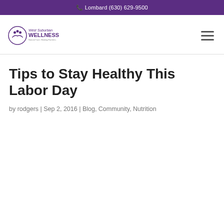📞 Lombard (630) 629-9500
[Figure (logo): West Suburban Wellness logo — shield/figure icon with text 'West Suburban WELLNESS Natural Care. Healing Families.']
Tips to Stay Healthy This Labor Day
by rodgers | Sep 2, 2016 | Blog, Community, Nutrition